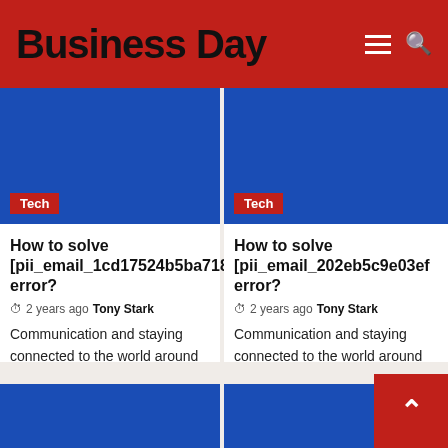Business Day
[Figure (screenshot): Blue placeholder image with red Tech tag, left card]
How to solve [pii_email_1cd17524b5ba718 error?
2 years ago  Tony Stark
Communication and staying connected to the world around us are the best for everyone. Nothing
[Figure (screenshot): Blue placeholder image with red Tech tag, right card]
How to solve [pii_email_202eb5c9e03ef error?
2 years ago  Tony Stark
Communication and staying connected to the world around us are the best for everyone. Nothing
[Figure (screenshot): Blue placeholder image bottom left]
[Figure (screenshot): Blue placeholder image bottom right]